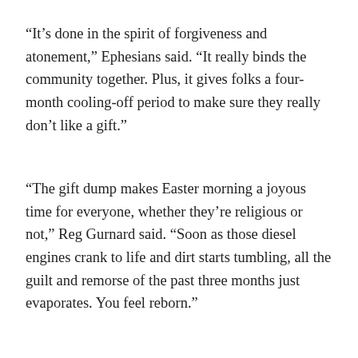“It’s done in the spirit of forgiveness and atonement,” Ephesians said. “It really binds the community together. Plus, it gives folks a four-month cooling-off period to make sure they really don’t like a gift.”
“The gift dump makes Easter morning a joyous time for everyone, whether they’re religious or not,” Reg Gurnard said. “Soon as those diesel engines crank to life and dirt starts tumbling, all the guilt and remorse of the past three months just evaporates. You feel reborn.”
April 18, 2014    Leave a Reply
Blacktip Island To Get Traffic Signals